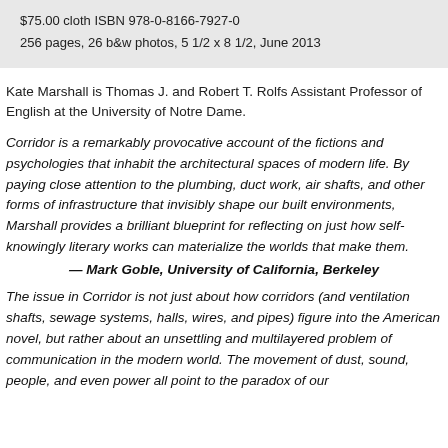$75.00 cloth ISBN 978-0-8166-7927-0
256 pages, 26 b&w photos, 5 1/2 x 8 1/2, June 2013
Kate Marshall is Thomas J. and Robert T. Rolfs Assistant Professor of English at the University of Notre Dame.
Corridor is a remarkably provocative account of the fictions and psychologies that inhabit the architectural spaces of modern life. By paying close attention to the plumbing, duct work, air shafts, and other forms of infrastructure that invisibly shape our built environments, Marshall provides a brilliant blueprint for reflecting on just how self-knowingly literary works can materialize the worlds that make them.
— Mark Goble, University of California, Berkeley
The issue in Corridor is not just about how corridors (and ventilation shafts, sewage systems, halls, wires, and pipes) figure into the American novel, but rather about an unsettling and multilayered problem of communication in the modern world. The movement of dust, sound, people, and even power all point to the paradox of our